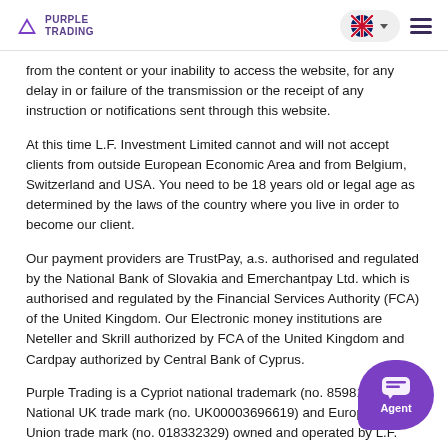PURPLE TRADING
from the content or your inability to access the website, for any delay in or failure of the transmission or the receipt of any instruction or notifications sent through this website.
At this time L.F. Investment Limited cannot and will not accept clients from outside European Economic Area and from Belgium, Switzerland and USA. You need to be 18 years old or legal age as determined by the laws of the country where you live in order to become our client.
Our payment providers are TrustPay, a.s. authorised and regulated by the National Bank of Slovakia and Emerchantpay Ltd. which is authorised and regulated by the Financial Services Authority (FCA) of the United Kingdom. Our Electronic money institutions are Neteller and Skrill authorized by FCA of the United Kingdom and Cardpay authorized by Central Bank of Cyprus.
Purple Trading is a Cypriot national trademark (no. 85981), National UK trade mark (no. UK00003696619) and European Union trade mark (no. 018332329) owned and operated by L.F. Investment Limited, 11, Louki Akrita, CY-4044 Limassol, Cyprus, a licensed Cyprus Investment Firm regulated by the CySEC lic. no. 271/15. The company is legally o... to follow all laws of Cyprus and rules and conditions of its CyS... The subsidiary of L.F. Investment Ltd, LFA International Ltd., Al... Panagioti Diomidous 9, Katholiki, 3020, Limassol, Cyprus, registration